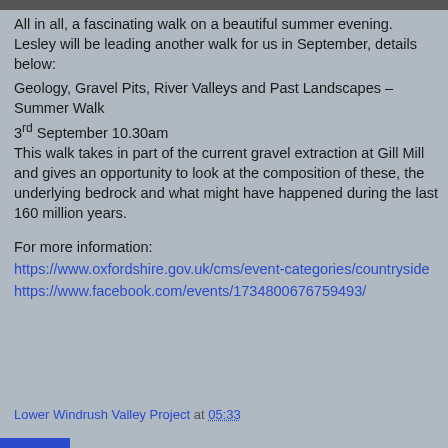[Figure (photo): Partial image strip at top of page]
All in all, a fascinating walk on a beautiful summer evening. Lesley will be leading another walk for us in September, details below:
Geology, Gravel Pits, River Valleys and Past Landscapes – Summer Walk
3rd September 10.30am
This walk takes in part of the current gravel extraction at Gill Mill and gives an opportunity to look at the composition of these, the underlying bedrock and what might have happened during the last 160 million years.
For more information:
https://www.oxfordshire.gov.uk/cms/event-categories/countryside
https://www.facebook.com/events/1734800676759493/
Lower Windrush Valley Project at 05:33